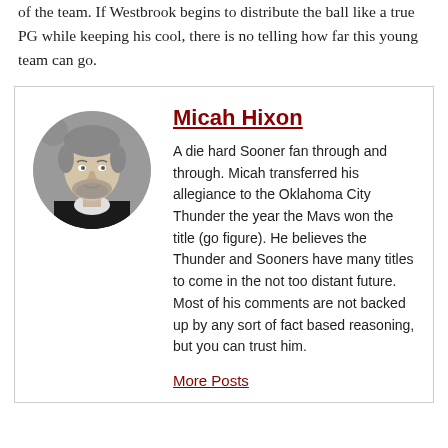of the team. If Westbrook begins to distribute the ball like a true PG while keeping his cool, there is no telling how far this young team can go.
[Figure (photo): Black and white circular portrait photo of Micah Hixon, a young man with light hair and a beard wearing a dark jacket.]
Micah Hixon
A die hard Sooner fan through and through. Micah transferred his allegiance to the Oklahoma City Thunder the year the Mavs won the title (go figure). He believes the Thunder and Sooners have many titles to come in the not too distant future. Most of his comments are not backed up by any sort of fact based reasoning, but you can trust him.
More Posts